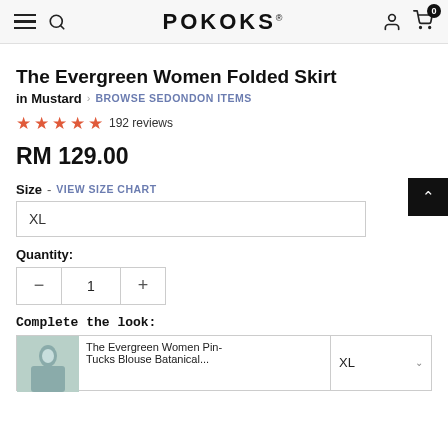POKOKS
The Evergreen Women Folded Skirt
in Mustard › BROWSE SEDONDON ITEMS
★★★★★ 192 reviews
RM 129.00
Size - VIEW SIZE CHART
XL
Quantity:
1
Complete the look:
The Evergreen Women Pin-Tucks Blouse Batanical...
XL